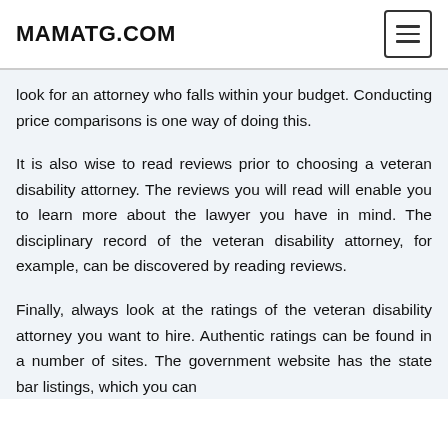MAMATG.COM
look for an attorney who falls within your budget. Conducting price comparisons is one way of doing this.
It is also wise to read reviews prior to choosing a veteran disability attorney. The reviews you will read will enable you to learn more about the lawyer you have in mind. The disciplinary record of the veteran disability attorney, for example, can be discovered by reading reviews.
Finally, always look at the ratings of the veteran disability attorney you want to hire. Authentic ratings can be found in a number of sites. The government website has the state bar listings, which you can